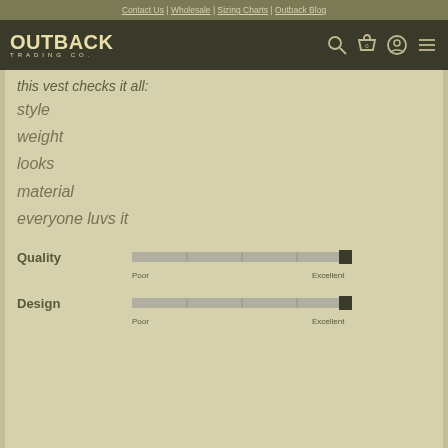Contact Us | Wholesale | Sizing Charts | Outback Blog
[Figure (logo): Outback Trading Co. logo with navigation icons]
this vest checks it all:
style
weight
looks
material
everyone luvs it
[Figure (infographic): Quality rating slider from Poor to Excellent, thumb near Excellent end]
[Figure (infographic): Design rating slider from Poor to Excellent, thumb near Excellent end]